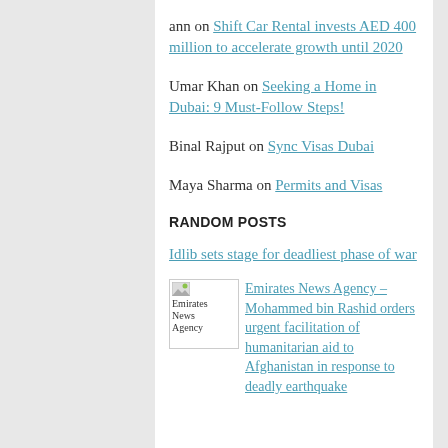ann on Shift Car Rental invests AED 400 million to accelerate growth until 2020
Umar Khan on Seeking a Home in Dubai: 9 Must-Follow Steps!
Binal Rajput on Sync Visas Dubai
Maya Sharma on Permits and Visas
RANDOM POSTS
Idlib sets stage for deadliest phase of war
Emirates News Agency – Mohammed bin Rashid orders urgent facilitation of humanitarian aid to Afghanistan in response to deadly earthquake